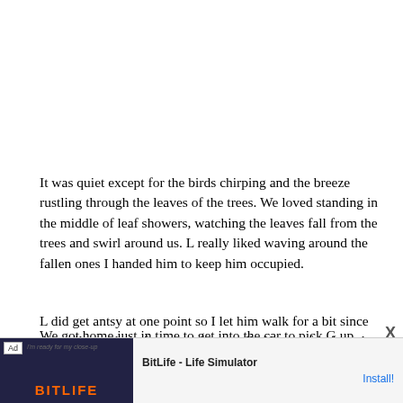It was quiet except for the birds chirping and the breeze rustling through the leaves of the trees. We loved standing in the middle of leaf showers, watching the leaves fall from the trees and swirl around us. L really liked waving around the fallen ones I handed him to keep him occupied.
L did get antsy at one point so I let him walk for a bit since the trail was the safest part of our walk. He was fascinated with the pine needles on the ground. He also seemed in awe of how tall the trees were.
We got home just in time to get into the car to pick G up from school. For the first time in weeks L didn't fight me
[Figure (screenshot): Mobile advertisement banner for BitLife - Life Simulator app with an Ad label, game screenshot thumbnail on the left, app name and Install button on the right, and an X close button]